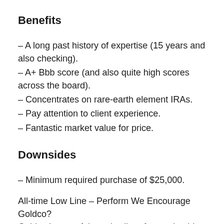Benefits
– A long past history of expertise (15 years and also checking).
– A+ Bbb score (and also quite high scores across the board).
– Concentrates on rare-earth element IRAs.
– Pay attention to client experience.
– Fantastic market value for price.
Downsides
– Minimum required purchase of $25,000.
All-time Low Line – Perform We Encourage Goldco?
Goldco is one of the only client-focused gold